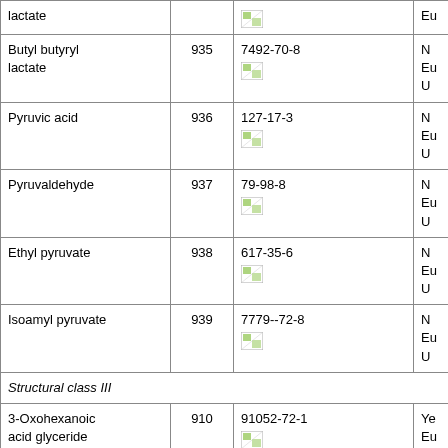| Name | # | CAS / Structure | Reg. |
| --- | --- | --- | --- |
| lactate |  | [image] | Eu... |
| Butyl butyryl lactate | 935 | 7492-70-8
[image] | N...
Eu...
U... |
| Pyruvic acid | 936 | 127-17-3
[image] | N...
Eu...
U... |
| Pyruvaldehyde | 937 | 79-98-8
[image] | N...
Eu...
U... |
| Ethyl pyruvate | 938 | 617-35-6
[image] | N...
Eu...
U... |
| Isoamyl pyruvate | 939 | 7779--72-8
[image] | N...
Eu...
U... |
| Structural class III |  |  |  |
| 3-Oxohexanoic acid glyceride | 910 | 91052-72-1
[image] | Ye...
Eu...
U... |